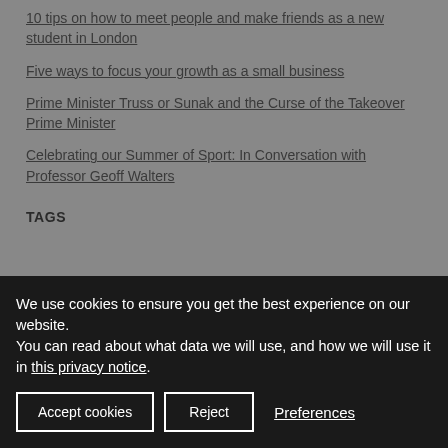10 tips on how to meet people and make friends as a new student in London
Five ways to focus your growth as a small business
Prime Minister Truss or Sunak and the Curse of the Takeover Prime Minister
Celebrating our Summer of Sport: In Conversation with Professor Geoff Walters
TAGS
We use cookies to ensure you get the best experience on our website.
You can read about what data we will use, and how we will use it in this privacy notice.
Accept cookies | Reject | Preferences